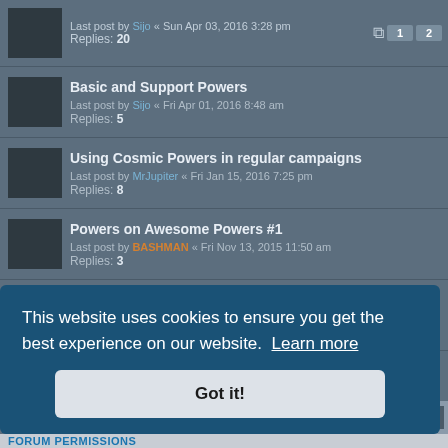Last post by Sijo « Sun Apr 03, 2016 3:28 pm
Replies: 20
Basic and Support Powers
Last post by Sijo « Fri Apr 01, 2016 8:48 am
Replies: 5
Using Cosmic Powers in regular campaigns
Last post by MrJupiter « Fri Jan 15, 2016 7:25 pm
Replies: 8
Powers on Awesome Powers #1
Last post by BASHMAN « Fri Nov 13, 2015 11:50 am
Replies: 3
Is it worth it to create new powers for these?
Last post by BASHMAN « Mon Nov 09, 2015 2:06 pm
Replies: 3
Gadgeteer
Last post by Sijo « Thu Nov 05, 2015 9:40 pm
Replies: 2
This website uses cookies to ensure you get the best experience on our website. Learn more
Got it!
FORUM PERMISSIONS